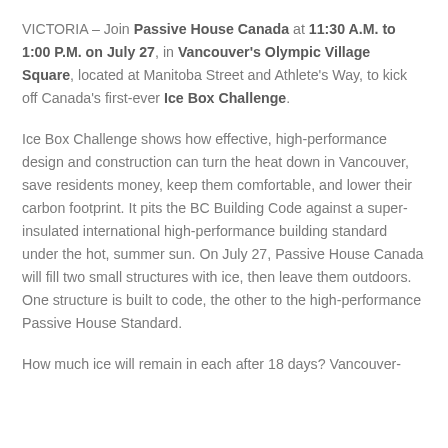VICTORIA – Join Passive House Canada at 11:30 A.M. to 1:00 P.M. on July 27, in Vancouver's Olympic Village Square, located at Manitoba Street and Athlete's Way, to kick off Canada's first-ever Ice Box Challenge.
Ice Box Challenge shows how effective, high-performance design and construction can turn the heat down in Vancouver, save residents money, keep them comfortable, and lower their carbon footprint. It pits the BC Building Code against a super-insulated international high-performance building standard under the hot, summer sun. On July 27, Passive House Canada will fill two small structures with ice, then leave them outdoors. One structure is built to code, the other to the high-performance Passive House Standard.
How much ice will remain in each after 18 days? Vancouver-